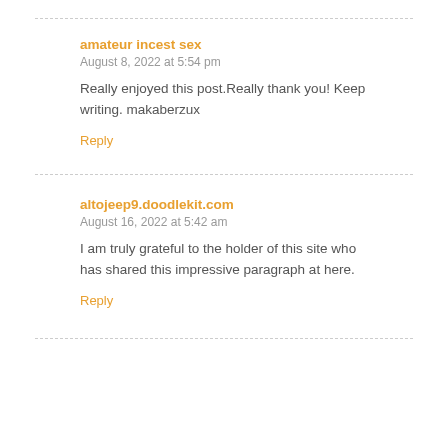amateur incest sex
August 8, 2022 at 5:54 pm
Really enjoyed this post.Really thank you! Keep writing. makaberzux
Reply
altojeep9.doodlekit.com
August 16, 2022 at 5:42 am
I am truly grateful to the holder of this site who has shared this impressive paragraph at here.
Reply